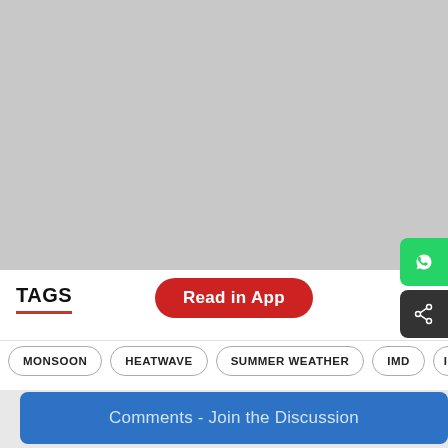[Figure (photo): Gray placeholder image area at the top of the page]
TAGS
Read in App
MONSOON
HEATWAVE
SUMMER WEATHER
IMD
INDIA
Comments - Join the Discussion